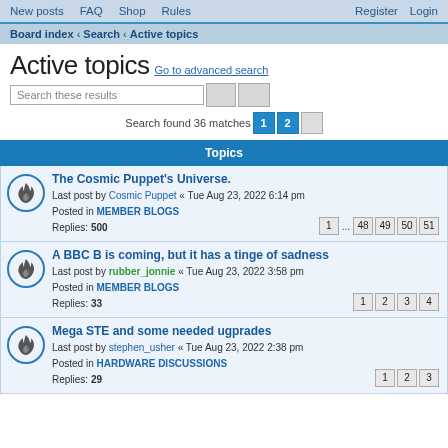New posts  FAQ  Shop  Rules  Register  Login
Board index › Search › Active topics
Active topics
Go to advanced search
Search these results
Search found 36 matches  1  2
Topics
The Cosmic Puppet's Universe.
Last post by Cosmic Puppet « Tue Aug 23, 2022 6:14 pm
Posted in MEMBER BLOGS
Replies: 500
Pages: 1 ... 48 49 50 51
A BBC B is coming, but it has a tinge of sadness
Last post by rubber_jonnie « Tue Aug 23, 2022 3:58 pm
Posted in MEMBER BLOGS
Replies: 33
Pages: 1 2 3 4
Mega STE and some needed ugprades
Last post by stephen_usher « Tue Aug 23, 2022 2:38 pm
Posted in HARDWARE DISCUSSIONS
Replies: 29
Pages: 1 2 3